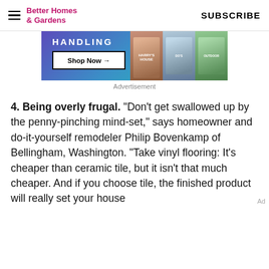Better Homes & Gardens  SUBSCRIBE
[Figure (other): Advertisement banner with gradient purple-to-teal background showing 'HANDLING' text, a 'Shop Now →' button, and product/magazine images on the right]
Advertisement
4. Being overly frugal. "Don't get swallowed up by the penny-pinching mind-set," says homeowner and do-it-yourself remodeler Philip Bovenkamp of Bellingham, Washington. "Take vinyl flooring: It's cheaper than ceramic tile, but it isn't that much cheaper. And if you choose tile, the finished product will really set your house